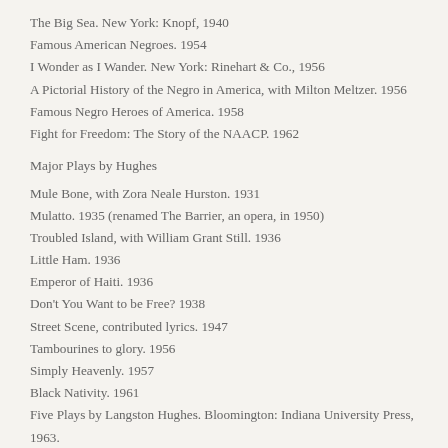The Big Sea. New York: Knopf, 1940
Famous American Negroes. 1954
I Wonder as I Wander. New York: Rinehart & Co., 1956
A Pictorial History of the Negro in America, with Milton Meltzer. 1956
Famous Negro Heroes of America. 1958
Fight for Freedom: The Story of the NAACP. 1962
Major Plays by Hughes
Mule Bone, with Zora Neale Hurston. 1931
Mulatto. 1935 (renamed The Barrier, an opera, in 1950)
Troubled Island, with William Grant Still. 1936
Little Ham. 1936
Emperor of Haiti. 1936
Don't You Want to be Free? 1938
Street Scene, contributed lyrics. 1947
Tambourines to glory. 1956
Simply Heavenly. 1957
Black Nativity. 1961
Five Plays by Langston Hughes. Bloomington: Indiana University Press, 1963.
Jericho-Jim Crow. 1964
Works for Children
Popo and Fifina, with Arna Bontemps. 1932
The First Book of the Negroes. 1952
The First Book of Jazz. 1954
Marian Anderson: Famous Concert Singer. with Steven C. Tracy